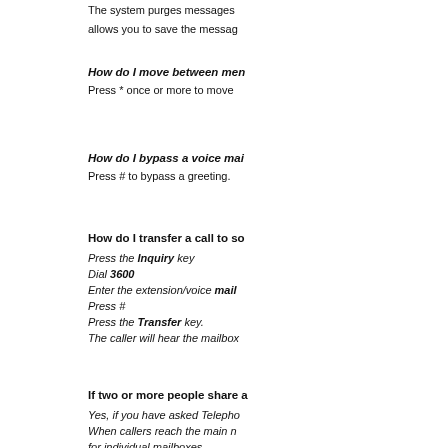The system purges messages... allows you to save the messag...
How do I move between men...
Press * once or more to move...
How do I bypass a voice mai...
Press # to bypass a greeting.
How do I transfer a call to so...
Press the Inquiry key
Dial 3600
Enter the extension/voice mail...
Press #
Press the Transfer key.
The caller will hear the mailbox...
If two or more people share a...
Yes, if you have asked Telepho...
When callers reach the main n...